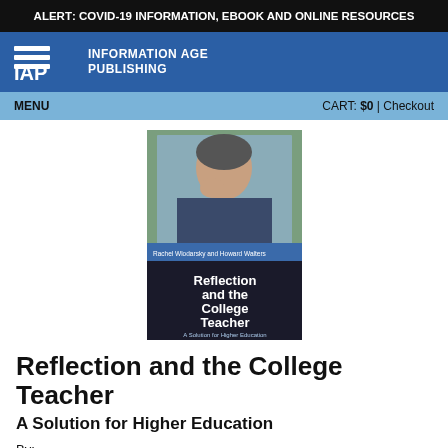ALERT: COVID-19 INFORMATION, EBOOK AND ONLINE RESOURCES
[Figure (logo): IAP Information Age Publishing logo with horizontal lines icon on blue background]
MENU   CART: $0 | Checkout
[Figure (photo): Book cover: Reflection and the College Teacher – A Solution for Higher Education by Rachel Wlodarsky and Howard Walters]
Reflection and the College Teacher
A Solution for Higher Education
By:
Rachel Wlodarsky, Ashland University
Howard Walters, Ashland University
A volume in the series: Innovative Perspectives of Higher Education